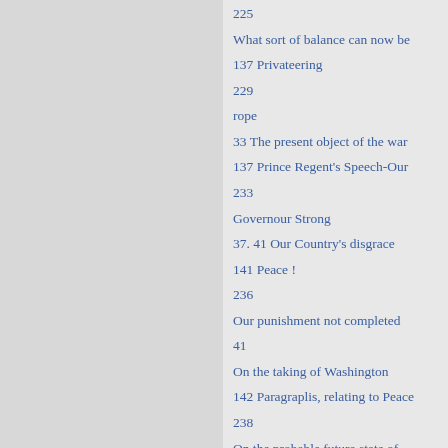225
What sort of balance can now be
137 Privateering
229
rope
33 The present object of the war
137 Prince Regent's Speech-Our
233
Governour Strong
37. 41 Our Country's disgrace
141 Peace !
236
Our punishment not completed
41
On the taking of Washington
142 Paragraplis, relating to Peace
238
On the probable future state of